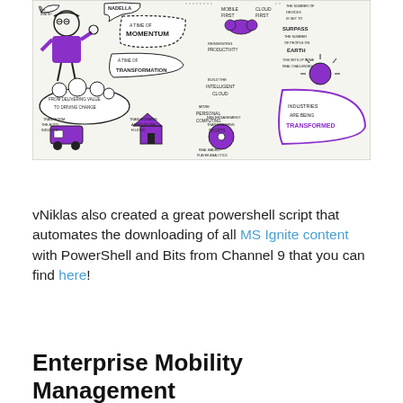[Figure (illustration): A sketchnote illustration from MS Ignite conference featuring hand-drawn doodles and handwritten text about topics like 'A Time of Momentum', 'A Time of Transformation', 'From Delivering Value to Driving Change', 'Mobile First Cloud First', 'Reinventing Productivity', 'Build the Intelligent Cloud', 'More Personal Computing', 'Transforming the Auto Industry', 'Transforming Agriculture', 'Transforming Sports', 'Industries Are Being Transformed', with purple and black ink drawings including a person, van, barn, cloud icons, and various speech bubbles.]
vNiklas also created a great powershell script that automates the downloading of all MS Ignite content with PowerShell and Bits from Channel 9 that you can find here!
Enterprise Mobility Management